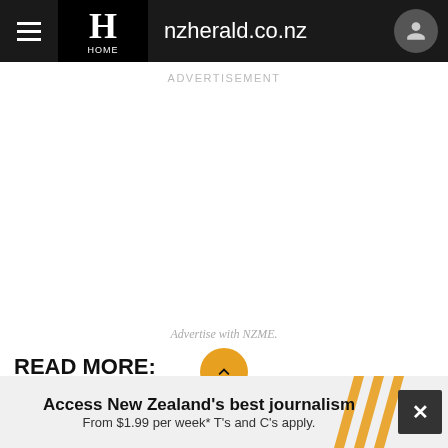nzherald.co.nz
ADVERTISEMENT
Advertise with NZME.
READ MORE:
Access New Zealand's best journalism From $1.99 per week* T's and C's apply.